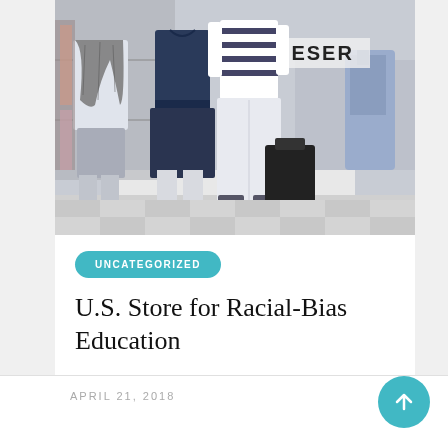[Figure (photo): Clothing store mannequins wearing various outfits including a scarf/jacket, dark dress, white pants with striped top, and denim jacket. A sign partially reading 'RESER' is visible in the background.]
UNCATEGORIZED
U.S. Store for Racial-Bias Education
APRIL 21, 2018